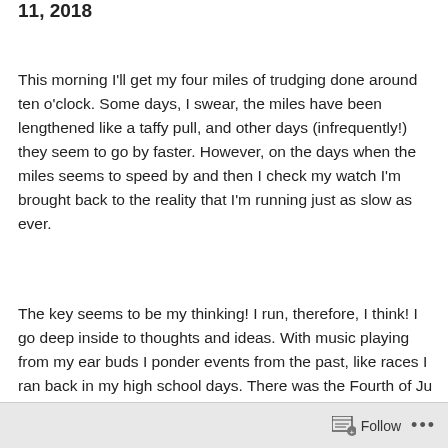11, 2018
This morning I'll get my four miles of trudging done around ten o'clock. Some days, I swear, the miles have been lengthened like a taffy pull, and other days (infrequently!) they seem to go by faster. However, on the days when the miles seems to speed by and then I check my watch I'm brought back to the reality that I'm running just as slow as ever.
The key seems to be my thinking! I run, therefore, I think! I go deep inside to thoughts and ideas. With music playing from my ear buds I ponder events from the past, like races I ran back in my high school days. There was the Fourth of July...
Follow ...